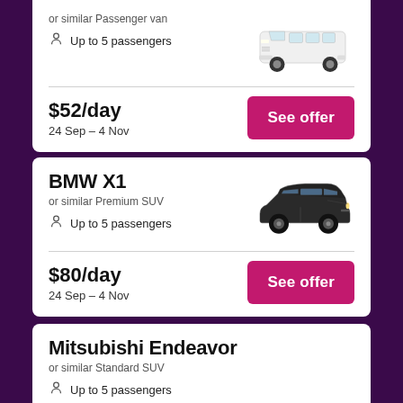or similar Passenger van
Up to 5 passengers
$52/day
24 Sep – 4 Nov
See offer
BMW X1
or similar Premium SUV
Up to 5 passengers
$80/day
24 Sep – 4 Nov
See offer
Mitsubishi Endeavor
or similar Standard SUV
Up to 5 passengers
4-door vehicles